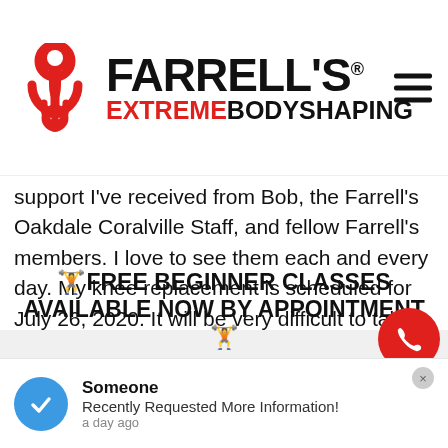[Figure (logo): Farrell's Extreme Bodyshaping logo with red stylized figure icon and bold black/red text]
support I've received from Bob, the Farrell's Oakdale Coralville Staff, and fellow Farrell's members. I love to see them each and every day. My knee replacement is scheduled for July 26, 2020. It will be very difficult to take
🏋FREE BEGINNER CLASSES AVAILABLE NOW BY APPOINTMENT 🏋
CLICK THE "REQUEST INFORMATION" BUTTON TO LEARN MORE!
Someone
Recently Requested More Information!
a day ago